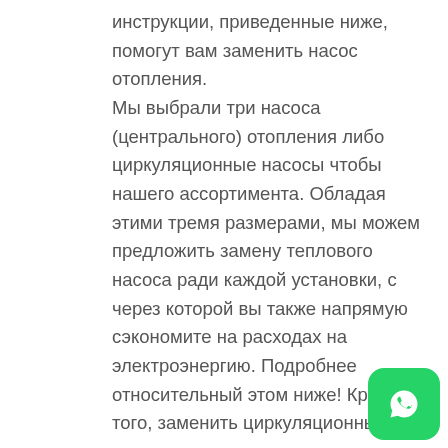инструкции, приведенные ниже, помогут вам заменить насос отопления. Мы выбрали три насоса (центрального) отопления либо циркуляционные насосы чтобы нашего ассортимента. Обладая этими тремя размерами, мы можем предложить замену теплового насоса ради каждой установки, с через которой вы также напрямую сэкономите на расходах на электроэнергию. Подробнее относительный этом ниже! Кроме того, заменить циркуляционный насос, насос отопления разве насос теплого пола баста просто. Это экономит затраты для установку. Ознакомьтесь с инструкциями и / тож видео ниже. Конечно, вы также можете заказать установку теплового насоса у специалиста. Всетаки для экономии средств рекомендуем запрещать
[Figure (other): WhatsApp contact button (green rounded square icon with phone/chat symbol)]